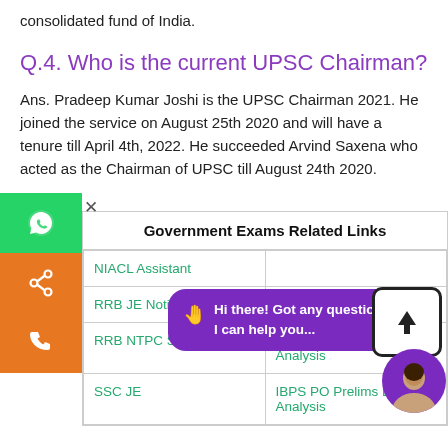consolidated fund of India.
Q.4. Who is the current UPSC Chairman?
Ans. Pradeep Kumar Joshi is the UPSC Chairman 2021. He joined the service on August 25th 2020 and will have a tenure till April 4th, 2022. He succeeded Arvind Saxena who acted as the Chairman of UPSC till August 24th 2020.
| Government Exams Related Links |  |
| --- | --- |
| NIACL Assistant |  |
| RRB JE Notification |  |
| RRB NTPC Salary | IBPS Clerk Mains Exam Analysis |
| SSC JE | IBPS PO Prelims Exam Analysis |